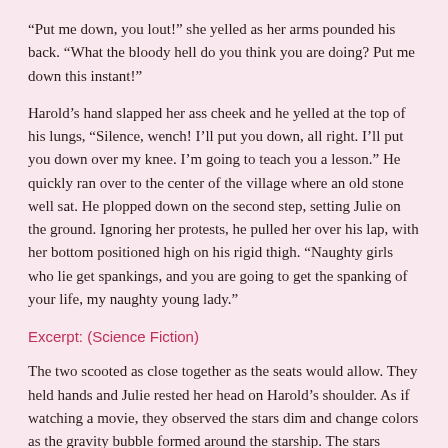“Put me down, you lout!” she yelled as her arms pounded his back. “What the bloody hell do you think you are doing? Put me down this instant!”
Harold’s hand slapped her ass cheek and he yelled at the top of his lungs, “Silence, wench! I’ll put you down, all right. I’ll put you down over my knee. I’m going to teach you a lesson.” He quickly ran over to the center of the village where an old stone well sat. He plopped down on the second step, setting Julie on the ground. Ignoring her protests, he pulled her over his lap, with her bottom positioned high on his rigid thigh. “Naughty girls who lie get spankings, and you are going to get the spanking of your life, my naughty young lady.”
Excerpt: (Science Fiction)
The two scooted as close together as the seats would allow. They held hands and Julie rested her head on Harold’s shoulder. As if watching a movie, they observed the stars dim and change colors as the gravity bubble formed around the starship. The stars appeared to shimmy back and forth as the discontinuity in gravity distorted their appearance. The vibration of the ship increased and the intensity of those stars ahead increased as their color shifted to a deep blue.